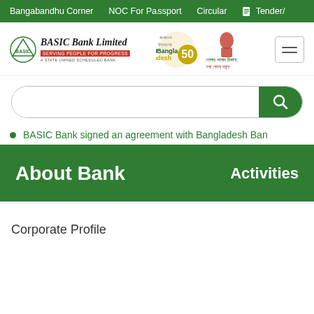Bangabandhu Corner | NOC For Passport | Circular | Tender/
[Figure (logo): BASIC Bank Limited logo with text 'Serving people for progress' and 'A State Owned Scheduled Bank', alongside Bangladesh 50th anniversary logo and Mujib centenary logo]
BASIC Bank signed an agreement with Bangladesh Ban
About Bank
Activities
Corporate Profile